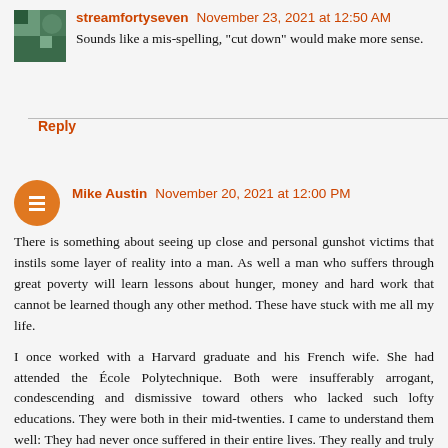streamfortyseven  November 23, 2021 at 12:50 AM
Sounds like a mis-spelling, "cut down" would make more sense.
Reply
Mike Austin  November 20, 2021 at 12:00 PM
There is something about seeing up close and personal gunshot victims that instils some layer of reality into a man. As well a man who suffers through great poverty will learn lessons about hunger, money and hard work that cannot be learned though any other method. These have stuck with me all my life.
I once worked with a Harvard graduate and his French wife. She had attended the École Polytechnique. Both were insufferably arrogant, condescending and dismissive toward others who lacked such lofty educations. They were both in their mid-twenties. I came to understand them well: They had never once suffered in their entire lives. They really and truly had no idea what poverty or want actually liked. They considered themselves